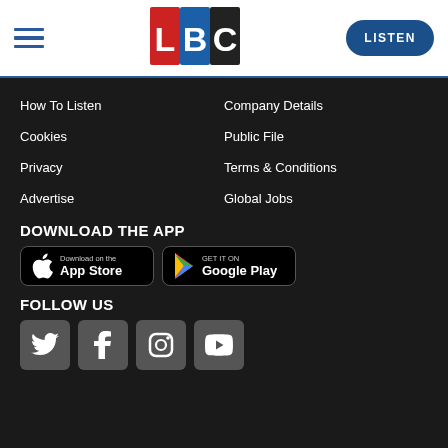[Figure (logo): LBC radio logo with red L, blue B, and black/white C letters]
LISTEN
How To Listen
Company Details
Cookies
Public File
Privacy
Terms & Conditions
Advertise
Global Jobs
DOWNLOAD THE APP
[Figure (other): Download on the App Store badge]
[Figure (other): Get it on Google Play badge]
FOLLOW US
[Figure (other): Twitter social media icon]
[Figure (other): Facebook social media icon]
[Figure (other): Instagram social media icon]
[Figure (other): YouTube social media icon]